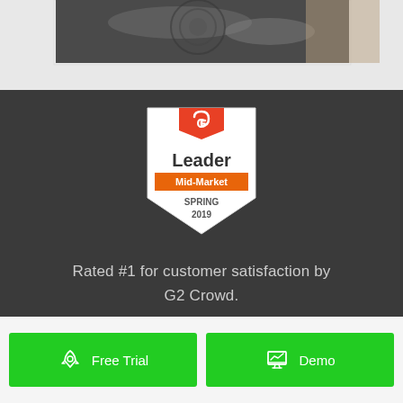[Figure (photo): Partial photograph showing a dark metallic/electronic device on a light wooden surface, mostly cropped at top]
[Figure (logo): G2 Crowd Leader badge: shield shape with red G2 logo at top, text 'Leader', orange banner 'Mid-Market', 'SPRING 2019' at bottom]
Rated #1 for customer satisfaction by G2 Crowd.
[Figure (other): Green button with rocket/satellite icon and text 'Free Trial']
[Figure (other): Green button with chart/graph icon and text 'Demo']